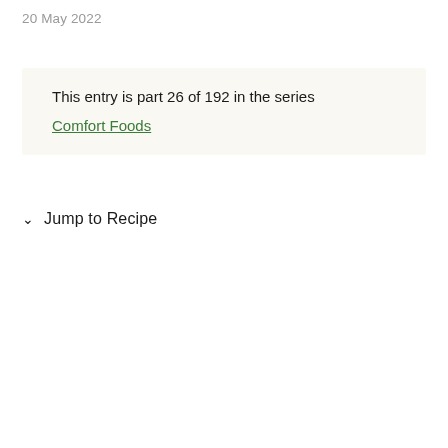20 May 2022
This entry is part 26 of 192 in the series
Comfort Foods
Jump to Recipe